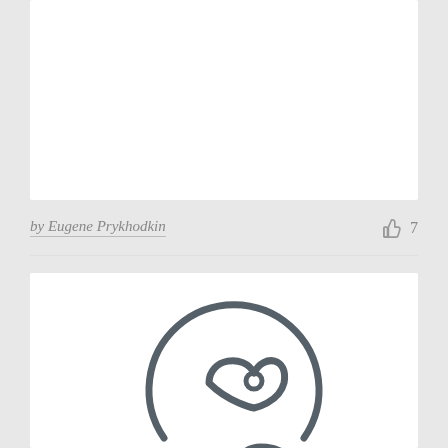[Figure (illustration): White card area at top, blank/empty content area]
by Eugene Prykhodkin  👍 7
[Figure (logo): Circular logo mark with a leaf or bird shape inside, drawn in dark gray outline style, partially visible at bottom of page]